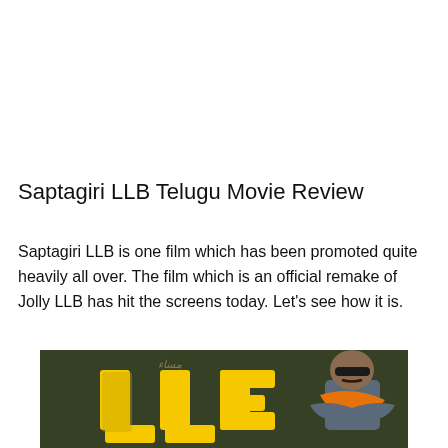Saptagiri LLB Telugu Movie Review
Saptagiri LLB is one film which has been promoted quite heavily all over. The film which is an official remake of Jolly LLB has hit the screens today. Let’s see how it is.
[Figure (photo): Movie poster image showing yellow styled LLB text logo and a man in sunglasses with an orange scarf, arms crossed, against a dark background]